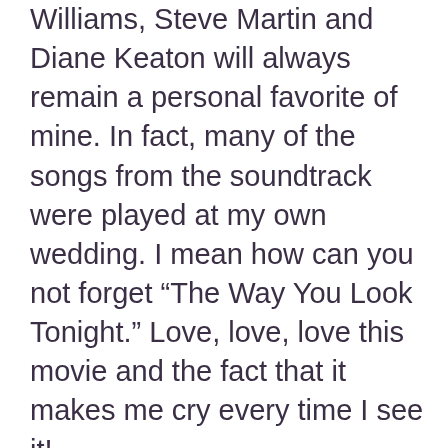Williams, Steve Martin and Diane Keaton will always remain a personal favorite of mine. In fact, many of the songs from the soundtrack were played at my own wedding. I mean how can you not forget “The Way You Look Tonight.” Love, love, love this movie and the fact that it makes me cry every time I see it!